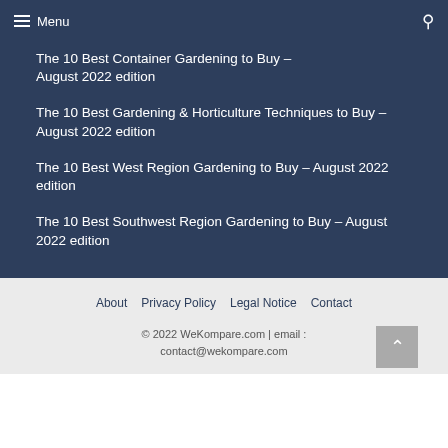≡ Menu
The 10 Best Container Gardening to Buy – August 2022 edition
The 10 Best Gardening & Horticulture Techniques to Buy – August 2022 edition
The 10 Best West Region Gardening to Buy – August 2022 edition
The 10 Best Southwest Region Gardening to Buy – August 2022 edition
About   Privacy Policy   Legal Notice   Contact
© 2022 WeKompare.com | email : contact@wekompare.com